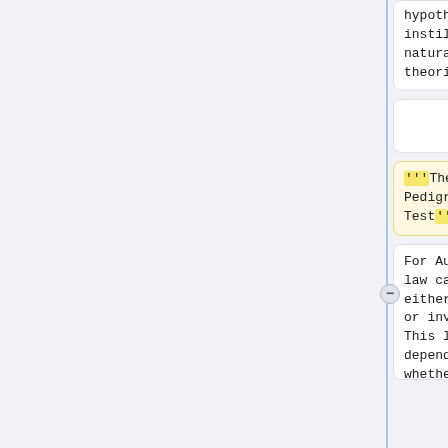hypotheses instilled by natural law theorists.
hypotheses instilled by natural law theorists.
'''The Pedigree Test'''
=== The Pedigree Test ===
For Austin, law can be either valid or invalid. This largely depends on whether statements of law are issued by a political
For Austin, law can be either valid or invalid. This largely depends on whether statements of law are issued by a political